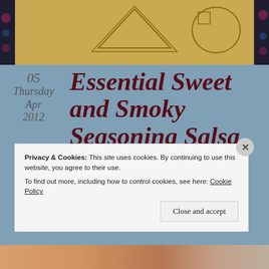[Figure (photo): Top portion of a photo showing what appears to be a wooden cutting board or similar item with geometric designs, against a dark floral background.]
05
Thursday
Apr
2012
Essential Sweet and Smoky Seasoning Salsa
Privacy & Cookies: This site uses cookies. By continuing to use this website, you agree to their use.
To find out more, including how to control cookies, see here: Cookie Policy
Close and accept